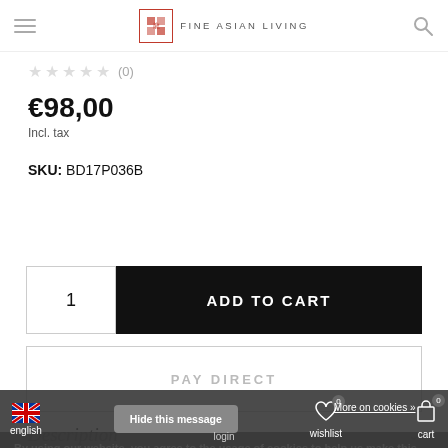FINE ASIAN LIVING
★★★★★ (0)
€98,00
Incl. tax
SKU: BD17P036B
1  ADD TO CART
PAY DIRECT
Description
By using our website, you agree to the usage of cookies to help us make this website better.
Hide this message   More on cookies »
english   login   wishlist   cart